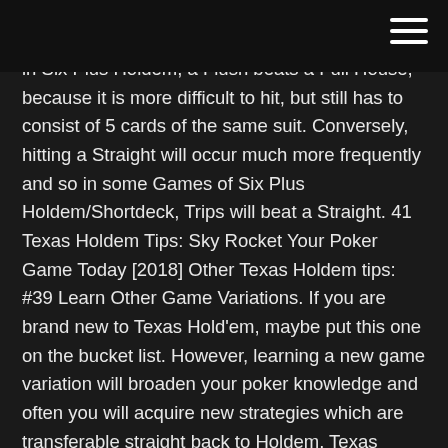[hamburger menu icon]
In Six Plus Holdem, a Flush beats a Full House, because it is more difficult to hit, but still has to consist of 5 cards of the same suit. Conversely, hitting a Straight will occur much more frequently and so in some Games of Six Plus Holdem/Shortdeck, Trips will beat a Straight. 41 Texas Holdem Tips: Sky Rocket Your Poker Game Today [2018] Other Texas Holdem tips: #39 Learn Other Game Variations. If you are brand new to Texas Hold'em, maybe put this one on the bucket list. However, learning a new game variation will broaden your poker knowledge and often you will acquire new strategies which are transferable straight back to Holdem. Texas Holdem Odds - bestcasinobonusplayslot.rocks Texas Holdem Odds. texas holdem odds How to Bet in Texas Holdem. When to bet in